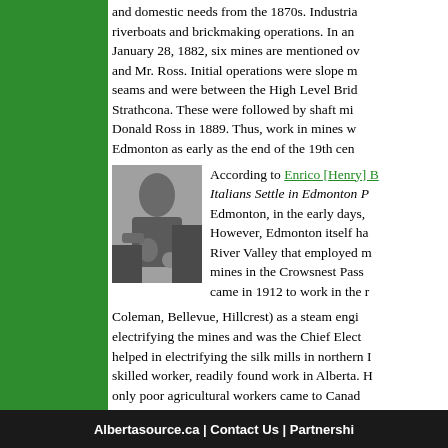and domestic needs from the 1870s. Industrial uses included riverboats and brickmaking operations. In an account dated January 28, 1882, six mines are mentioned owned by Mr. Hardisty and Mr. Ross. Initial operations were slope mines that exposed seams and were between the High Level Bridge and the Village of Strathcona. These were followed by shaft mines, the first opened by Donald Ross in 1889. Thus, work in mines was taking place in Edmonton as early as the end of the 19th cent…
[Figure (photo): Black and white photograph of a man]
According to Enrico [Henry] B… Italians Settle in Edmonton P… Edmonton, in the early days,… However, Edmonton itself ha… River Valley that employed m… mines in the Crowsnest Pass… came in 1912 to work in the r… Coleman, Bellevue, Hillcrest) as a steam engi… electrifying the mines and was the Chief Elect… helped in electrifying the silk mills in northern I… skilled worker, readily found work in Alberta. H… only poor agricultural workers came to Canad… and, according to his son, he came because "I…
[continue>>]
[back] [top]
Copyright © 2002 Adriana Albi Davies, Ph.D… Foundation
Albertasource.ca | Contact Us | Partnershi…